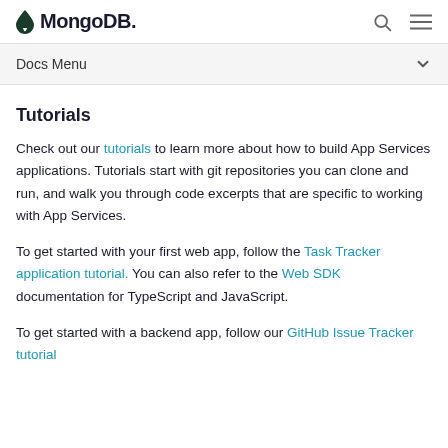MongoDB
Docs Menu
Tutorials
Check out our tutorials to learn more about how to build App Services applications. Tutorials start with git repositories you can clone and run, and walk you through code excerpts that are specific to working with App Services.
To get started with your first web app, follow the Task Tracker application tutorial. You can also refer to the Web SDK documentation for TypeScript and JavaScript.
To get started with a backend app, follow our GitHub Issue Tracker tutorial